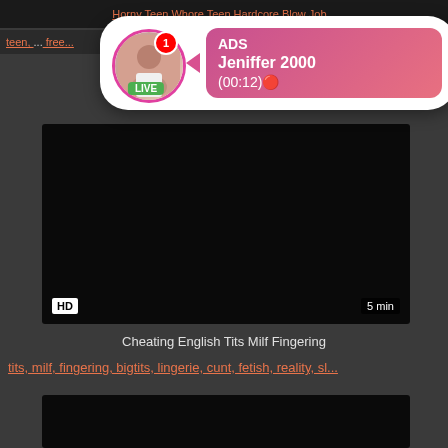Horny Teen Whore Teen Hardcore Blow Job...
teen, ... free...
[Figure (screenshot): Dark video thumbnail with HD badge and 5 min duration label]
[Figure (infographic): Ad overlay popup with avatar showing LIVE badge, notification dot, and pink gradient ADS card for Jeniffer 2000 (00:12)]
Cheating English Tits Milf Fingering
tits, milf, fingering, bigtits, lingerie, cunt, fetish, reality, sl...
[Figure (screenshot): Second dark video thumbnail]